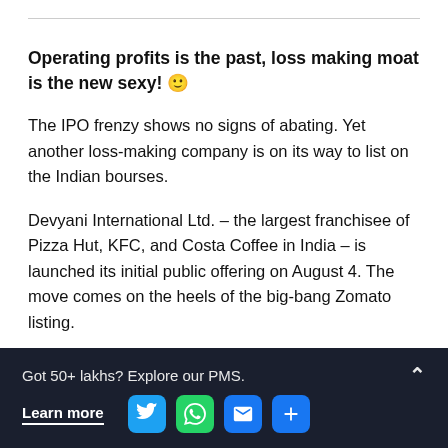Operating profits is the past, loss making moat is the new sexy! 😊
The IPO frenzy shows no signs of abating. Yet another loss-making company is on its way to list on the Indian bourses.
Devyani International Ltd. – the largest franchisee of Pizza Hut, KFC, and Costa Coffee in India – is launched its initial public offering on August 4. The move comes on the heels of the big-bang Zomato listing.
With brands like KFC, Pizza Hut, Costa Coffee, and Vaango in its stable, Devyani seems to offer something for
Got 50+ lakhs? Explore our PMS. Learn more